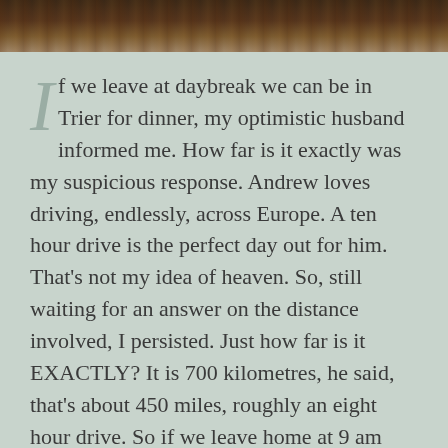[Figure (photo): Dark photograph at top of page showing out-of-focus Christmas tree lights and foliage with red ornaments, serving as a decorative header image.]
If we leave at daybreak we can be in Trier for dinner, my optimistic husband informed me. How far is it exactly was my suspicious response. Andrew loves driving, endlessly, across Europe. A ten hour drive is the perfect day out for him. That’s not my idea of heaven. So, still waiting for an answer on the distance involved, I persisted. Just how far is it EXACTLY? It is 700 kilometres, he said, that’s about 450 miles, roughly an eight hour drive. So if we leave home at 9 am we’ll be there in time